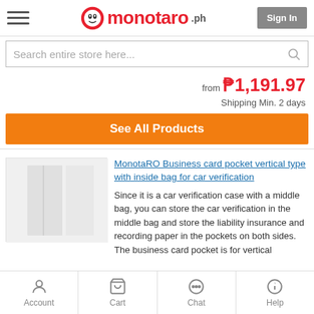monotaro.ph — Sign In
Search entire store here...
from ₱1,191.97
Shipping Min. 2 days
See All Products
MonotaRO Business card pocket vertical type with inside bag for car verification
Since it is a car verification case with a middle bag, you can store the car verification in the middle bag and store the liability insurance and recording paper in the pockets on both sides. The business card pocket is for vertical
Account    Cart    Chat    Help